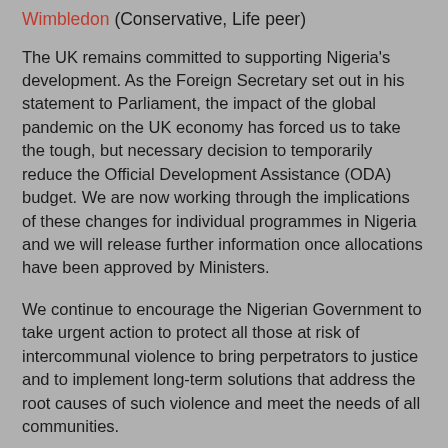Wimbledon (Conservative, Life peer)
The UK remains committed to supporting Nigeria's development. As the Foreign Secretary set out in his statement to Parliament, the impact of the global pandemic on the UK economy has forced us to take the tough, but necessary decision to temporarily reduce the Official Development Assistance (ODA) budget. We are now working through the implications of these changes for individual programmes in Nigeria and we will release further information once allocations have been approved by Ministers.
We continue to encourage the Nigerian Government to take urgent action to protect all those at risk of intercommunal violence to bring perpetrators to justice and to implement long-term solutions that address the root causes of such violence and meet the needs of all communities.
Original source UIN HL13954